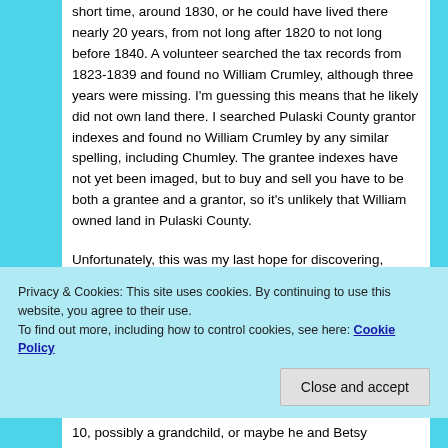short time, around 1830, or he could have lived there nearly 20 years, from not long after 1820 to not long before 1840. A volunteer searched the tax records from 1823-1839 and found no William Crumley, although three years were missing. I'm guessing this means that he likely did not own land there. I searched Pulaski County grantor indexes and found no William Crumley by any similar spelling, including Chumley. The grantee indexes have not yet been imaged, but to buy and sell you have to be both a grantee and a grantor, so it's unlikely that William owned land in Pulaski County.
Unfortunately, this was my last hope for discovering, positively, William (the third's) wife's name after the 1817 marriage.
Privacy & Cookies: This site uses cookies. By continuing to use this website, you agree to their use.
To find out more, including how to control cookies, see here: Cookie Policy
10, possibly a grandchild, or maybe he and Betsy